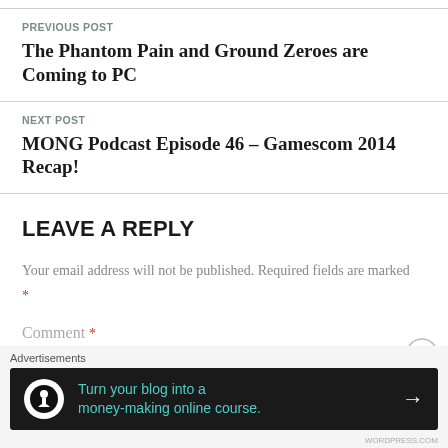PREVIOUS POST
The Phantom Pain and Ground Zeroes are Coming to PC
NEXT POST
MONG Podcast Episode 46 – Gamescom 2014 Recap!
LEAVE A REPLY
Your email address will not be published. Required fields are marked *
Comment *
[Figure (infographic): Advertisement banner: dark background with circular tree/person icon, teal text reading 'Turn your blog into a money-making online course.' with white right arrow]
Advertisements